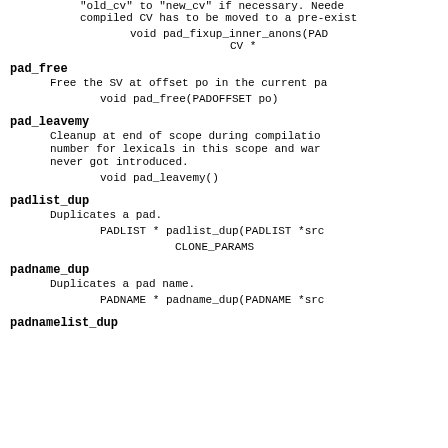for any anon CVs in the pad, change "old_cv" to "new_cv" if necessary. Needed compiled CV has to be moved to a pre-exist
void    pad_fixup_inner_anons(PAD
                              CV *
pad_free
    Free the SV at offset po in the current pa
        void    pad_free(PADOFFSET po)
pad_leavemy
    Cleanup at end of scope during compilation number for lexicals in this scope and war never got introduced.
        void    pad_leavemy()
padlist_dup
    Duplicates a pad.
        PADLIST * padlist_dup(PADLIST *src
                              CLONE_PARAMS
padname_dup
    Duplicates a pad name.
        PADNAME * padname_dup(PADNAME *src
padnamelist_dup